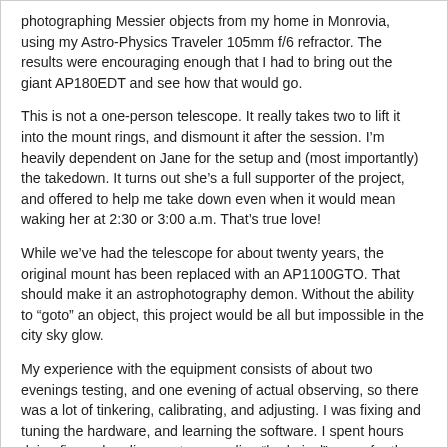photographing Messier objects from my home in Monrovia, using my Astro-Physics Traveler 105mm f/6 refractor. The results were encouraging enough that I had to bring out the giant AP180EDT and see how that would go.
This is not a one-person telescope. It really takes two to lift it into the mount rings, and dismount it after the session. I'm heavily dependent on Jane for the setup and (most importantly) the takedown. It turns out she's a full supporter of the project, and offered to help me take down even when it would mean waking her at 2:30 or 3:00 a.m. That's true love!
While we've had the telescope for about twenty years, the original mount has been replaced with an AP1100GTO. That should make it an astrophotography demon. Without the ability to “goto” an object, this project would be all but impossible in the city sky glow.
My experience with the equipment consists of about two evenings testing, and one evening of actual observing, so there was a lot of tinkering, calibrating, and adjusting. I was fixing and tuning the hardware, and learning the software. I spent hours doing fine polar alignments, recording “bad pixel” maps for the guider, diagnosing guiding errors, and such.
That said, I still managed to capture what I consider stunning images for such a bright location. I’ve been logging two more Messier objects each evening, and with several good clear moonless nights in a row, I haven’t been able to resist.